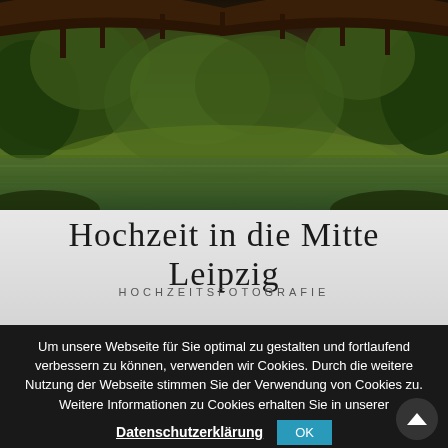[Figure (photo): Outdoor nature photo showing a wooden bridge arc at the top, lush green trees and bushes in the background, and a calm water reflection in the foreground. Moody, overcast lighting.]
Hochzeit in die Mitte Leipzig
HOCHZEITSFOTOGRAFIE
Um unsere Webseite für Sie optimal zu gestalten und fortlaufend verbessern zu können, verwenden wir Cookies. Durch die weitere Nutzung der Webseite stimmen Sie der Verwendung von Cookies zu. Weitere Informationen zu Cookies erhalten Sie in unserer
Datenschutzerklärung
OK